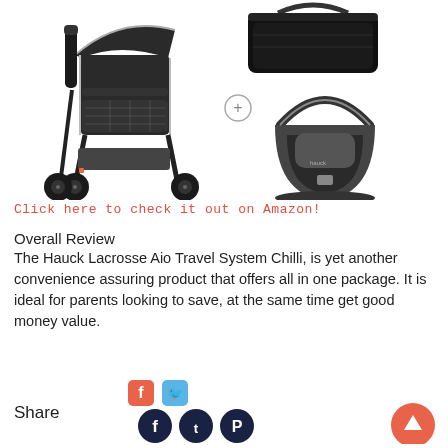[Figure (photo): Product photo of Hauck Lacrosse Aio Travel System Chilli showing a stroller, carrycot, and infant car seat in black, with a '+' symbol between the stroller and the other components.]
Click here to check it out on Amazon!
Overall Review
The Hauck Lacrosse Aio Travel System Chilli, is yet another convenience assuring product that offers all in one package. It is ideal for parents looking to save, at the same time get good money value.
[Figure (infographic): Share section with Share label, Facebook and Twitter small icons on top row, and Facebook, Twitter, Pinterest dark circle icons on bottom row, plus a coral scroll-to-top button on the right.]